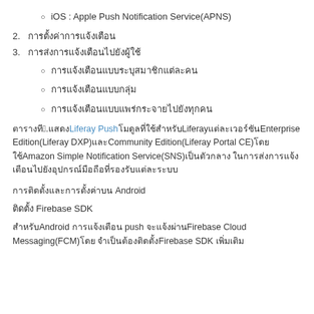iOS : Apple Push Notification Service(APNS)
2. [Thai text - ordered list item 2]
3. [Thai text - ordered list item 3]
[Thai text - sub-bullet 1]
[Thai text - sub-bullet 2]
[Thai text - sub-bullet 3]
[Thai text] 3. [Thai] Liferay Push [Thai] Liferay [Thai] Enterprise Edition(Liferay DXP) [Thai] Community Edition(Liferay Portal CE) [Thai] Amazon Simple Notification Service(SNS) [Thai]
[Thai text paragraph]
[Thai text section header]
[Thai] Android [Thai] Firebase Cloud Messaging(FCM) [Thai] Firebase [Thai]